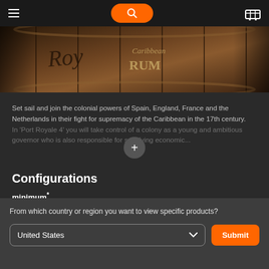Navigation bar with hamburger menu, search button, and cart icon
[Figure (photo): Close-up of wooden rum barrels with text 'Caribbean RUM' visible]
Set sail and join the colonial powers of Spain, England, France and the Netherlands in their fight for supremacy of the Caribbean in the 17th century. In 'Port Royale 4' you will take control of a colony as a young and ambitious governor who...
Configurations
minimum*
OS: Windows 8.1 or Windows 10 (64-bit versions)
From which country or region you want to view specific products?
United States
Submit